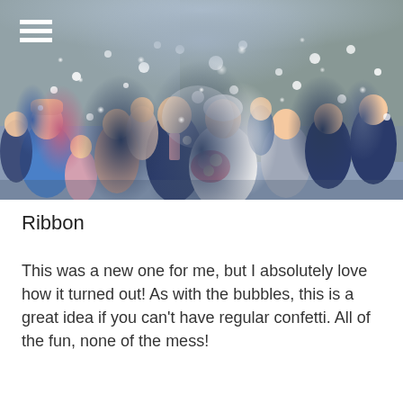[Figure (photo): Wedding couple kissing while surrounded by guests throwing ribbon confetti outside a rustic stone barn venue. Bride in white dress holding bouquet, groom in navy suit with pink tie. Wedding party and guests visible in background, all smiling and celebrating.]
Ribbon
This was a new one for me, but I absolutely love how it turned out! As with the bubbles, this is a great idea if you can't have regular confetti. All of the fun, none of the mess!